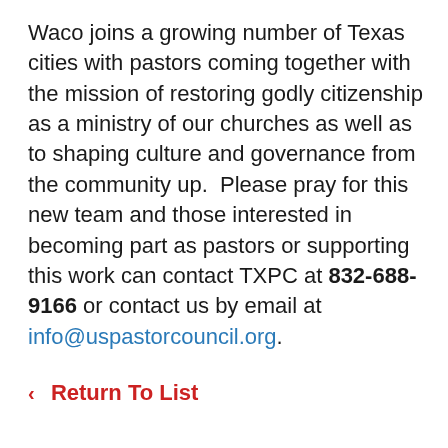Waco joins a growing number of Texas cities with pastors coming together with the mission of restoring godly citizenship as a ministry of our churches as well as to shaping culture and governance from the community up.  Please pray for this new team and those interested in becoming part as pastors or supporting this work can contact TXPC at 832-688-9166 or contact us by email at info@uspastorcouncil.org.
‹  Return To List